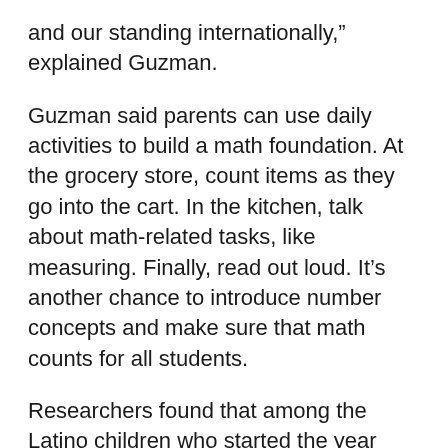and our standing internationally,” explained Guzman.
Guzman said parents can use daily activities to build a math foundation. At the grocery store, count items as they go into the cart. In the kitchen, talk about math-related tasks, like measuring. Finally, read out loud. It’s another chance to introduce number concepts and make sure that math counts for all students.
Researchers found that among the Latino children who started the year behind in math skills, those who could pay attention and control their behavior made the most progress in math during kindergarten.